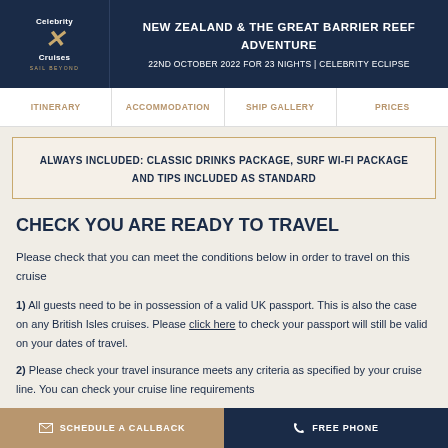NEW ZEALAND & THE GREAT BARRIER REEF ADVENTURE
22ND OCTOBER 2022 FOR 23 NIGHTS | CELEBRITY ECLIPSE
ITINERARY | ACCOMMODATION | SHIP GALLERY | PRICES
ALWAYS INCLUDED: CLASSIC DRINKS PACKAGE, SURF WI-FI PACKAGE AND TIPS INCLUDED AS STANDARD
CHECK YOU ARE READY TO TRAVEL
Please check that you can meet the conditions below in order to travel on this cruise
1) All guests need to be in possession of a valid UK passport. This is also the case on any British Isles cruises. Please click here to check your passport will still be valid on your dates of travel.
2) Please check your travel insurance meets any criteria as specified by your cruise line. You can check your cruise line requirements
SCHEDULE A CALLBACK | FREE PHONE